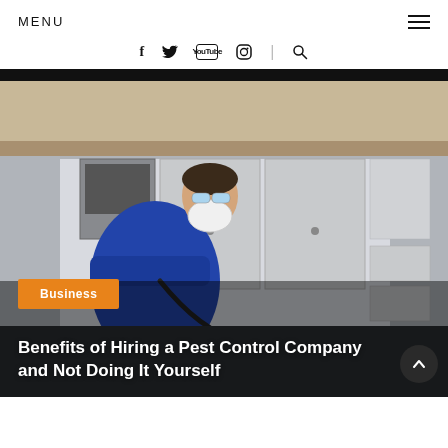MENU
[Figure (screenshot): Website navigation bar with social media icons: Facebook (f), Twitter (bird), YouTube (box), Instagram (circle), divider, and search icon]
[Figure (photo): Pest control technician wearing a blue uniform and white mask, leaning under kitchen cabinets with exterminator equipment]
Business
Benefits of Hiring a Pest Control Company and Not Doing It Yourself